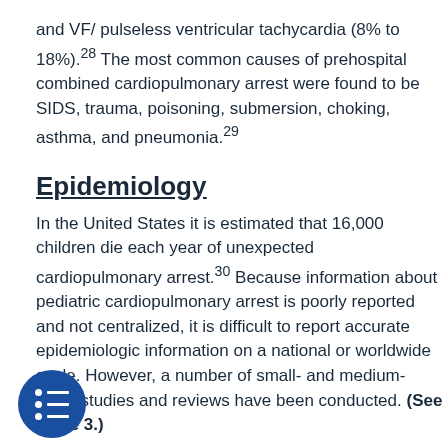and VF/ pulseless ventricular tachycardia (8% to 18%).28 The most common causes of prehospital combined cardiopulmonary arrest were found to be SIDS, trauma, poisoning, submersion, choking, asthma, and pneumonia.29
Epidemiology
In the United States it is estimated that 16,000 children die each year of unexpected cardiopulmonary arrest.30 Because information about pediatric cardiopulmonary arrest is poorly reported and not centralized, it is difficult to report accurate epidemiologic information on a national or worldwide scale. However, a number of small- and medium-scale studies and reviews have been conducted. (See Table 3.)